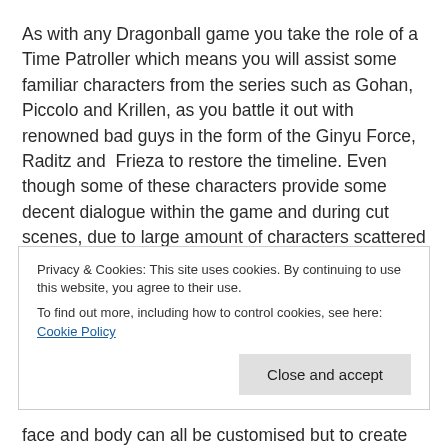As with any Dragonball game you take the role of a Time Patroller which means you will assist some familiar characters from the series such as Gohan, Piccolo and Krillen, as you battle it out with renowned bad guys in the form of the Ginyu Force, Raditz and  Frieza to restore the timeline. Even though some of these characters provide some decent dialogue within the game and during cut scenes, due to large amount of characters scattered around Conton city their are some encounters where you will be lucky to get a word out of some of the generic NPCs
Privacy & Cookies: This site uses cookies. By continuing to use this website, you agree to their use.
To find out more, including how to control cookies, see here: Cookie Policy
face and body can all be customised but to create